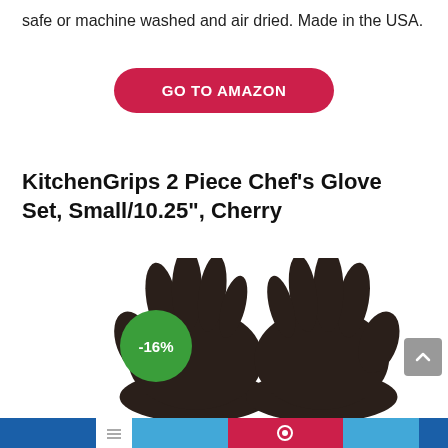safe or machine washed and air dried. Made in the USA.
GO TO AMAZON
KitchenGrips 2 Piece Chef's Glove Set, Small/10.25", Cherry
[Figure (photo): Two dark brown/black KitchenGrips chef gloves shown side by side against white background, with a green -16% discount badge overlay]
Social share bar with blue, light blue, red, and other colored sections